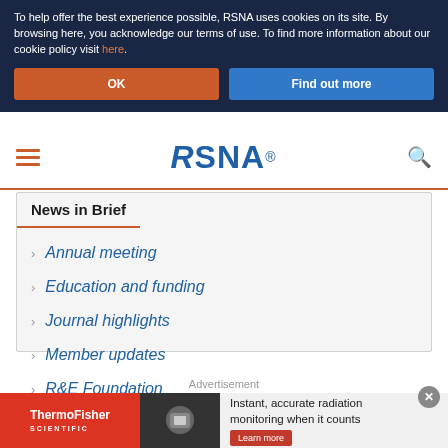To help offer the best experience possible, RSNA uses cookies on its site. By browsing here, you acknowledge our terms of use. To find more information about our cookie policy visit here.
OK
Find out more
[Figure (logo): RSNA logo with hamburger menu and search icon in navigation bar]
News in Brief
Annual meeting
Education and funding
Journal highlights
Member updates
R&E Foundation
Radiology in public focus
Advertisement
[Figure (illustration): ThermoFisher Scientific advertisement banner: Instant, accurate radiation monitoring when it counts. Learn more button.]